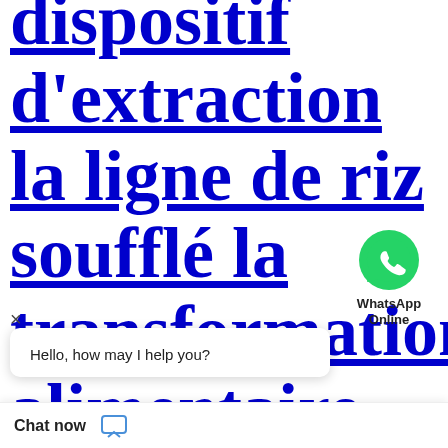dispositif d'extraction la ligne de riz soufflé la transformation alimentaire
[Figure (logo): WhatsApp green phone icon with Online label]
Hello, how may I help you?
Chat now